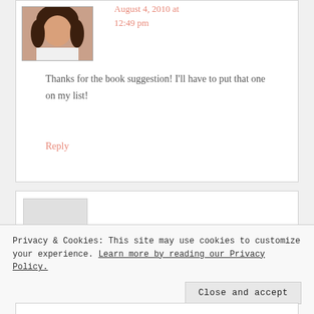[Figure (photo): Small avatar photo of a woman with brown hair in a bordered box]
August 4, 2010 at 12:49 pm
Thanks for the book suggestion! I'll have to put that one on my list!
Reply
Privacy & Cookies: This site may use cookies to customize your experience. Learn more by reading our Privacy Policy.
Close and accept